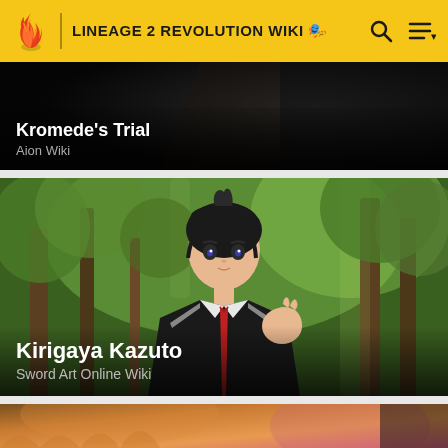LINEAGE 2 REVOLUTION WIKI
[Figure (screenshot): Dark dungeon/game scene card showing 'Kromede's Trial' from Aion Wiki]
Kromede's Trial
Aion Wiki
[Figure (photo): Anime character Kirigaya Kazuto standing in a forest, wearing a black school uniform with a red tie, from Sword Art Online Wiki]
Kirigaya Kazuto
Sword Art Online Wiki
[Figure (photo): Partial view of another game/anime card at the bottom of the page, showing warm orange and pink tones]